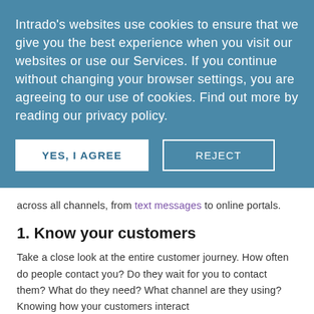Intrado's websites use cookies to ensure that we give you the best experience when you visit our websites or use our Services. If you continue without changing your browser settings, you are agreeing to our use of cookies. Find out more by reading our privacy policy.
YES, I AGREE
REJECT
across all channels, from text messages to online portals.
1. Know your customers
Take a close look at the entire customer journey. How often do people contact you? Do they wait for you to contact them? What do they need? What channel are they using? Knowing how your customers interact